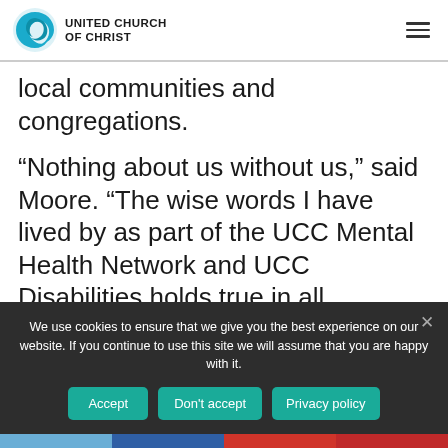[Figure (logo): United Church of Christ logo with teal spiral icon and text 'UNITED CHURCH OF CHRIST']
local communities and congregations.
“Nothing about us without us,” said Moore. “The wise words I have lived by as part of the UCC Mental Health Network and UCC Disabilities holds true in all advocacy work.  Our desire is to help... and who better than the citizens of
We use cookies to ensure that we give you the best experience on our website. If you continue to use this site we will assume that you are happy with it.
Accept
Don't accept
Privacy policy